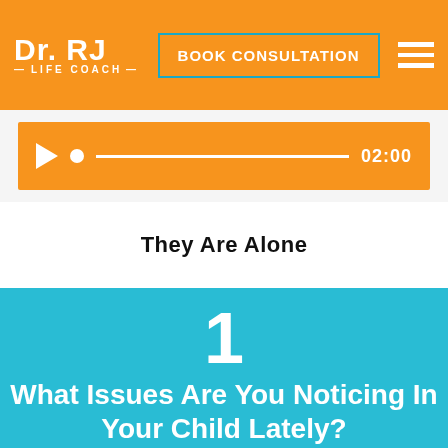Dr. RJ — LIFE COACH — | BOOK CONSULTATION
[Figure (screenshot): Audio player widget with play button, scrubber bar, and time display showing 02:00 on orange background]
They Are Alone
1
What Issues Are You Noticing In Your Child Lately?